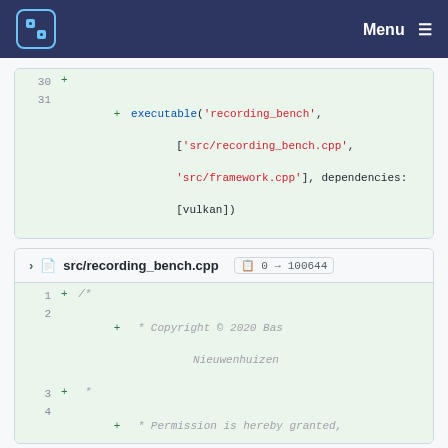Menu (navigation bar with logo)
[Figure (screenshot): Code diff block showing lines 30-31 of a meson.build file with executable('recording_bench', ...) function call]
src/recording_bench.cpp  0 → 100644
[Figure (screenshot): Code diff block showing lines 1-6 of src/recording_bench.cpp, a C++ file copyright comment block (MIT-style license header)]